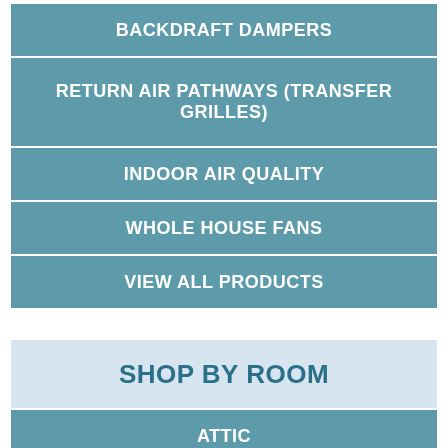BACKDRAFT DAMPERS
RETURN AIR PATHWAYS (TRANSFER GRILLES)
INDOOR AIR QUALITY
WHOLE HOUSE FANS
VIEW ALL PRODUCTS
SHOP BY ROOM
ATTIC
BASEMENT/CRAWL SPACE